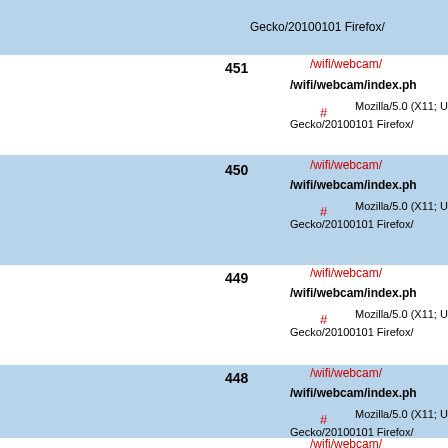| # | path | file | hash | user-agent |
| --- | --- | --- | --- | --- |
|  |  | Gecko/20100101 Firefox/ |  |  |
| 451 | /wifi/webcam/ | /wifi/webcam/index.ph | # | Mozilla/5.0 (X11; Ubuntu; Linux i6
Gecko/20100101 Firefox/ |
| 450 | /wifi/webcam/ | /wifi/webcam/index.ph | # | Mozilla/5.0 (X11; Ubuntu; Linux i6
Gecko/20100101 Firefox/ |
| 449 | /wifi/webcam/ | /wifi/webcam/index.ph | # | Mozilla/5.0 (X11; Ubuntu; Linux i6
Gecko/20100101 Firefox/ |
| 448 | /wifi/webcam/ | /wifi/webcam/index.ph | # | Mozilla/5.0 (X11; Ubuntu; Linux i6
Gecko/20100101 Firefox/ |
|  | /wifi/webcam/ |  |  |  |